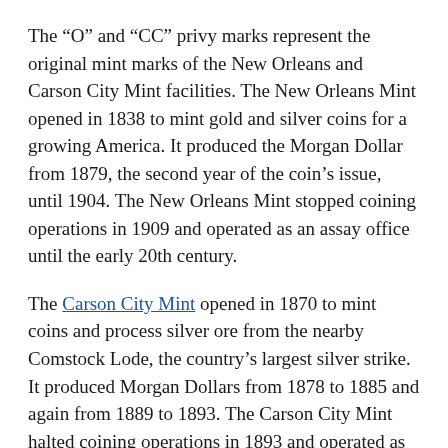The “O” and “CC” privy marks represent the original mint marks of the New Orleans and Carson City Mint facilities. The New Orleans Mint opened in 1838 to mint gold and silver coins for a growing America. It produced the Morgan Dollar from 1879, the second year of the coin’s issue, until 1904. The New Orleans Mint stopped coining operations in 1909 and operated as an assay office until the early 20th century.
The Carson City Mint opened in 1870 to mint coins and process silver ore from the nearby Comstock Lode, the country’s largest silver strike. It produced Morgan Dollars from 1878 to 1885 and again from 1889 to 1893. The Carson City Mint halted coining operations in 1893 and operated as an assay office until the early 20th century.
Since these facilities no longer operate, the 2021 Morgan Dollars that commemorate them have privy marks in the place of mint marks. The privy marks are raised ovals